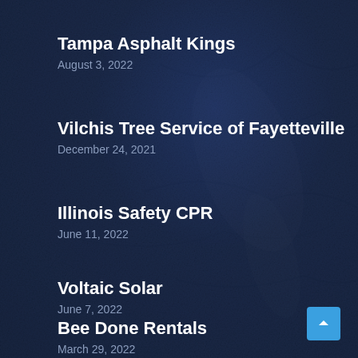Tampa Asphalt Kings
August 3, 2022
Vilchis Tree Service of Fayetteville
December 24, 2021
Illinois Safety CPR
June 11, 2022
Voltaic Solar
June 7, 2022
Bee Done Rentals
March 29, 2022